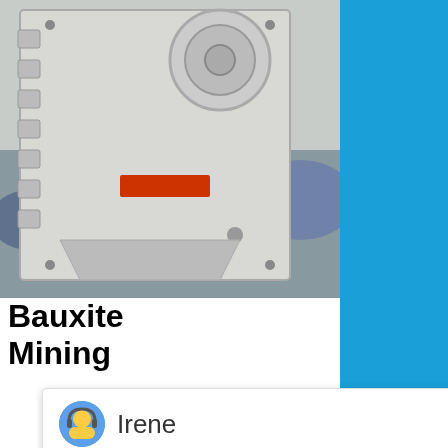[Figure (photo): Industrial mining crusher machine (bauxite jaw crusher), large grey machinery with bolted frame]
Bauxite Mining
Bauxite
Mining
Crusher
Feldspar.
Bauxite
Mining
Crusher
Feldspar.
Please choose the language you prefer:1.English  2.Español  3.русский  4.Français  5.bahasa Indonesia   6. عربسعربی
Enquiry
cywaitml @gmail.com